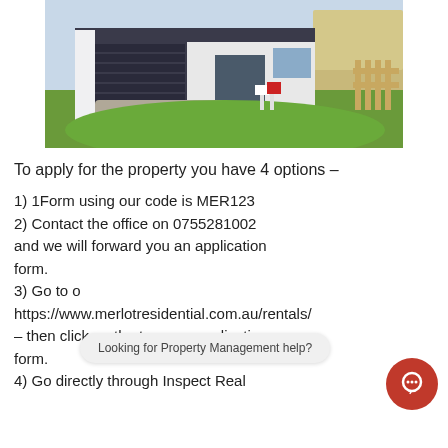[Figure (photo): Exterior photo of a modern single-storey residential house with dark grey garage door, white render walls, green lawn, and real estate signage at the front]
To apply for the property you have 4 options –
1) 1Form using our code is MER123
2) Contact the office on 0755281002 and we will forward you an application form.
3) Go to o… https://www.merlotresidential.com.au/rentals/ – then click on the tenancy application form.
4) Go directly through Inspect Real
Looking for Property Management help?